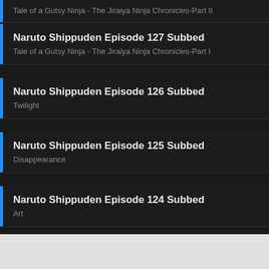Naruto Shippuden Episode 127 Subbed
Tale of a Gutsy Ninja - The Jiraiya Ninja Chronicles-Part II
Naruto Shippuden Episode 127 Subbed
Tale of a Gutsy Ninja - The Jiraiya Ninja Chronicles-Part I
Naruto Shippuden Episode 126 Subbed
Twilight
Naruto Shippuden Episode 125 Subbed
Disappearance
Naruto Shippuden Episode 124 Subbed
Art
Naruto Shippuden Episode 123 Subbed
Clash!
[Figure (screenshot): Petco advertisement banner: BUY ONE, GET ONE 50% OFF with SHOP NOW button and dog supplement product image]